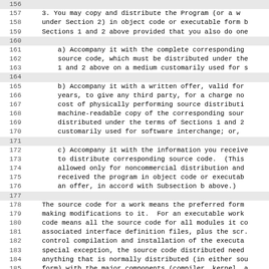156 (blank)
157     3. You may copy and distribute the Program (or a w
158     under Section 2) in object code or executable form b
159     Sections 1 and 2 above provided that you also do one
160 (blank)
161         a) Accompany it with the complete corresponding
162         source code, which must be distributed under the
163         1 and 2 above on a medium customarily used for s
164 (blank)
165         b) Accompany it with a written offer, valid for
166         years, to give any third party, for a charge no
167         cost of physically performing source distributio
168         machine-readable copy of the corresponding sour
169         distributed under the terms of Sections 1 and 2
170         customarily used for software interchange; or,
171 (blank)
172         c) Accompany it with the information you receive
173         to distribute corresponding source code.  (This
174         allowed only for noncommercial distribution and
175         received the program in object code or executab
176         an offer, in accord with Subsection b above.)
177 (blank)
178     The source code for a work means the preferred form
179     making modifications to it.  For an executable work
180     code means all the source code for all modules it co
181     associated interface definition files, plus the scr.
182     control compilation and installation of the executa
183     special exception, the source code distributed need
184     anything that is normally distributed (in either sou
185     form) with the major components (compiler, kernel, a
186     operating system on which the executable runs, unles
187     itself accompanies the executable.